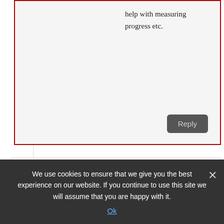help with measuring progress etc.
Reply
Andrew
March 7, 2017 at 1:52 am
Do I need a nice mat for my sunny health fitness b 1423 or will a cheap yoga mat work to keep my carpet cleaned
We use cookies to ensure that we give you the best experience on our website. If you continue to use this site we will assume that you are happy with it.
Ok